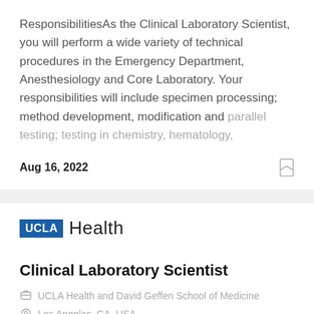ResponsibilitiesAs the Clinical Laboratory Scientist, you will perform a wide variety of technical procedures in the Emergency Department, Anesthesiology and Core Laboratory. Your responsibilities will include specimen processing; method development, modification and parallel testing; testing in chemistry, hematology,
Aug 16, 2022
[Figure (logo): UCLA Health logo — blue box with 'UCLA' text followed by 'Health' in large light font]
Clinical Laboratory Scientist
UCLA Health and David Geffen School of Medicine
Los Angeles, CA, USA